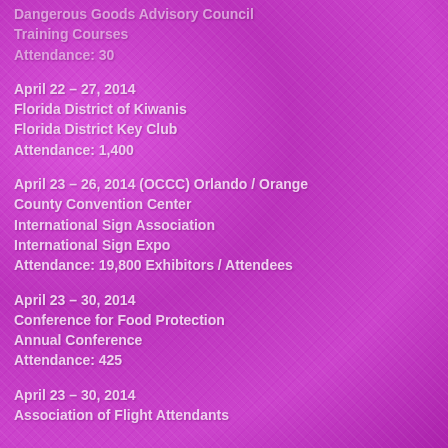Dangerous Goods Advisory Council
Training Courses
Attendance: 30
April 22 – 27, 2014
Florida District of Kiwanis
Florida District Key Club
Attendance: 1,400
April 23 – 26, 2014 (OCCC) Orlando / Orange County Convention Center
International Sign Association
International Sign Expo
Attendance: 19,800 Exhibitors / Attendees
April 23 – 30, 2014
Conference for Food Protection
Annual Conference
Attendance: 425
April 23 – 30, 2014
Association of Flight Attendants